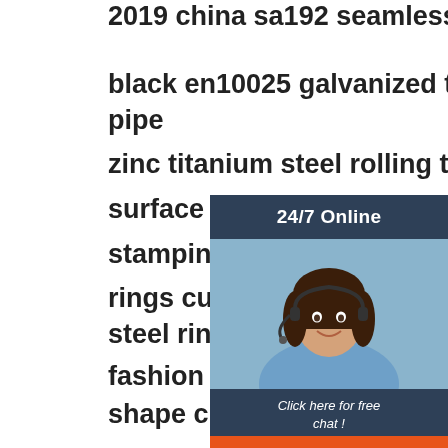2019 china sa192 seamless carbon price list
black en10025 galvanized tube sino steel pipe
zinc titanium steel rolling tube tank w…
surface treatment manufacturer pun…
stamping custom sheet metal sheet…
rings custom damascus steel ring ca…
steel ring wood inlay
fashion jewelry custom lettering cart…
shape custom necklace personalize…
gold-plated plate 3d necklace
good quality factory directly hand washing
basin wash basins china low price
[Figure (illustration): Customer service chat widget showing a woman with headset, dark background header with '24/7 Online', italic text 'Click here for free chat!', and an orange QUOTATION button]
[Figure (logo): Orange TOP logo with dotted arc above the word TOP]